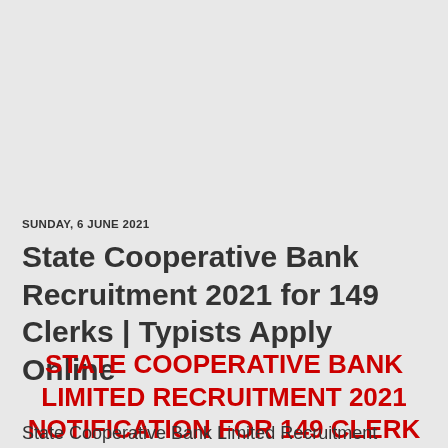SUNDAY, 6 JUNE 2021
State Cooperative Bank Recruitment 2021 for 149 Clerks | Typists Apply Online
STATE COOPERATIVE BANK LIMITED RECRUITMENT 2021 NOTIFICATION FOR 149 CLERK AND STENO-TYPIST POSTS
State Cooperative Bank Limited Recruitment 2021-22